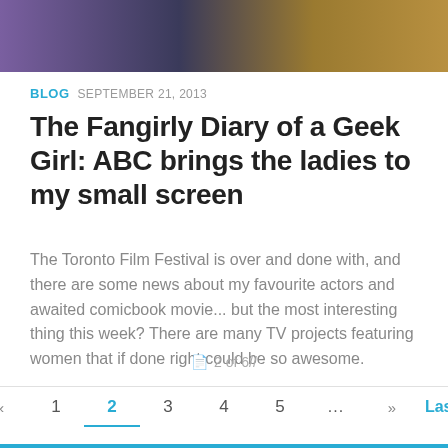[Figure (photo): Cropped photo strip showing people at what appears to be an event or gathering, with purple/blue and golden tones]
BLOG SEPTEMBER 21, 2013
The Fangirly Diary of a Geek Girl: ABC brings the ladies to my small screen
The Toronto Film Festival is over and done with, and there are some news about my favourite actors and awaited comicbook movie... but the most interesting thing this week? There are many TV projects featuring women that if done right could be so awesome.
2 of 6//
« 1 2 3 4 5 ... » Last »